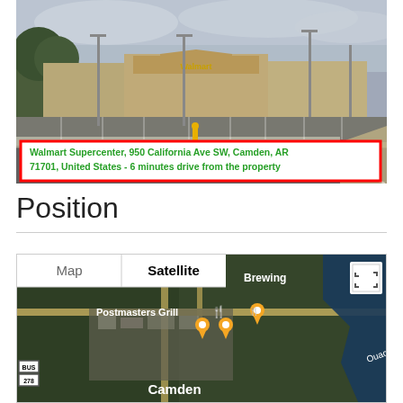[Figure (photo): Street view photo of Walmart Supercenter parking lot in Camden, AR with overcast sky and parked vehicles visible]
Walmart Supercenter, 950 California Ave SW, Camden, AR 71701, United States - 6 minutes drive from the property
Position
[Figure (map): Google Maps satellite view of Camden, AR area showing Postmasters Grill, Brewing location, Camden label, Ouachita River, Bus route 278, and map/satellite toggle tabs]